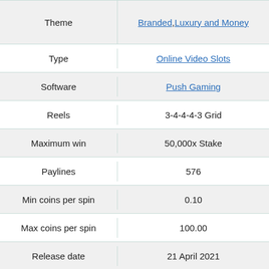|  |  |
| --- | --- |
| Theme | Branded, Luxury and Money |
| Type | Online Video Slots |
| Software | Push Gaming |
| Reels | 3-4-4-4-3 Grid |
| Maximum win | 50,000x Stake |
| Paylines | 576 |
| Min coins per spin | 0.10 |
| Max coins per spin | 100.00 |
| Release date | 21 April 2021 |
|  | DINO COINS, DINO |